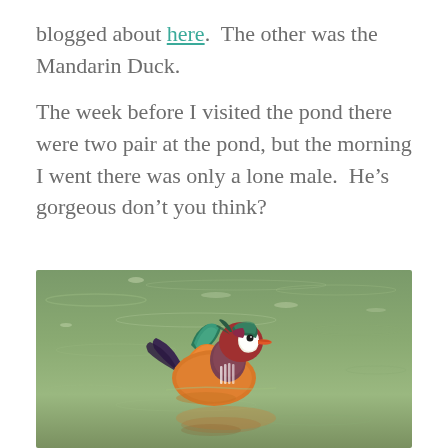blogged about here.  The other was the Mandarin Duck.
The week before I visited the pond there were two pair at the pond, but the morning I went there was only a lone male.  He’s gorgeous don’t you think?
[Figure (photo): A colorful male Mandarin Duck swimming on a green water surface with its reflection visible below.]